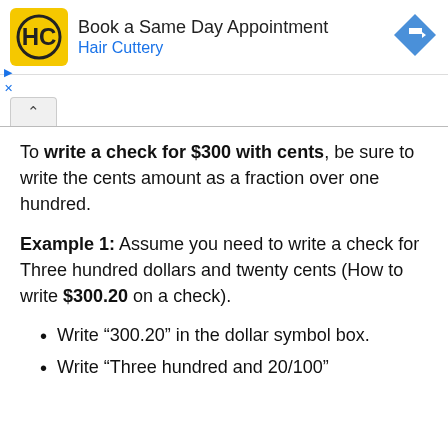[Figure (other): Hair Cuttery advertisement banner with logo, text 'Book a Same Day Appointment / Hair Cuttery', and a blue diamond direction icon]
To write a check for $300 with cents, be sure to write the cents amount as a fraction over one hundred.
Example 1: Assume you need to write a check for Three hundred dollars and twenty cents (How to write $300.20 on a check).
Write “300.20” in the dollar symbol box.
Write “Three hundred and 20/100”